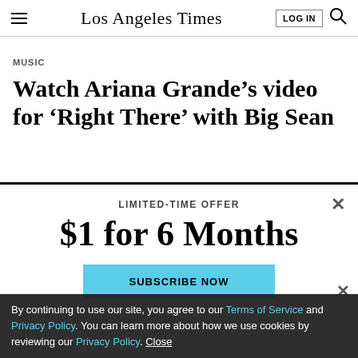Los Angeles Times
MUSIC
Watch Ariana Grande’s video for ‘Right There’ with Big Sean
LIMITED-TIME OFFER
$1 for 6 Months
SUBSCRIBE NOW
By continuing to use our site, you agree to our Terms of Service and Privacy Policy. You can learn more about how we use cookies by reviewing our Privacy Policy. Close